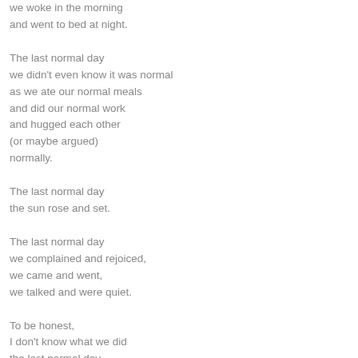we woke in the morning
and went to bed at night.

The last normal day
we didn't even know it was normal
as we ate our normal meals
and did our normal work
and hugged each other
(or maybe argued)
normally.

The last normal day
the sun rose and set.

The last normal day
we complained and rejoiced,
we came and went,
we talked and were quiet.

To be honest,
I don't know what we did
the last normal day,